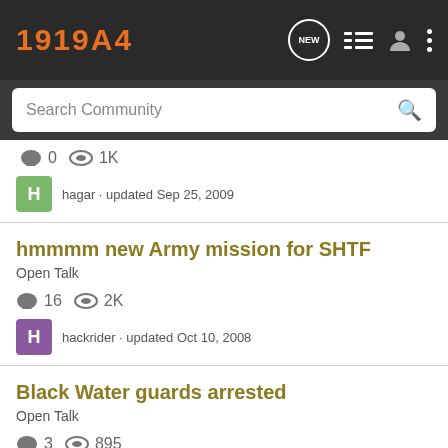1919A4
Search Community
0  1K
hagar · updated Sep 25, 2009
hmmmm new Army mission for SHTF
Open Talk
16  2K
hackrider · updated Oct 10, 2008
Black Water guards arrested
Open Talk
3  895
phalanx · updated Dec 8, 2008